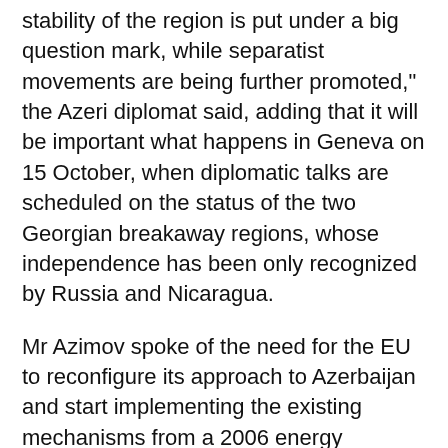stability of the region is put under a big question mark, while separatist movements are being further promoted," the Azeri diplomat said, adding that it will be important what happens in Geneva on 15 October, when diplomatic talks are scheduled on the status of the two Georgian breakaway regions, whose independence has been only recognized by Russia and Nicaragua.
Mr Azimov spoke of the need for the EU to reconfigure its approach to Azerbaijan and start implementing the existing mechanisms from a 2006 energy partnership, not just talk about how important his country is for the bloc's energy security.
Azerbaijan is not aiming, like Ukraine or Georgia, to become a member of the EU, but could very well imagine "common areas for trade, economy, transport," he explained, "as far as is procedurally possible without